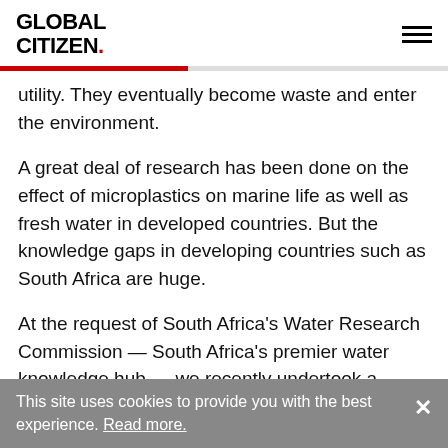GLOBAL CITIZEN.
utility. They eventually become waste and enter the environment.
A great deal of research has been done on the effect of microplastics on marine life as well as fresh water in developed countries. But the knowledge gaps in developing countries such as South Africa are huge.
At the request of South Africa's Water Research Commission — South Africa's premier water knowledge hub — we recently undertook a scoping study of microplastics in
This site uses cookies to provide you with the best experience. Read more.